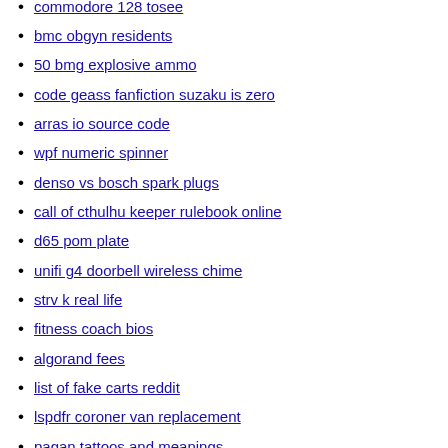commodore 128 tosee
bmc obgyn residents
50 bmg explosive ammo
code geass fanfiction suzaku is zero
arras io source code
wpf numeric spinner
denso vs bosch spark plugs
call of cthulhu keeper rulebook online
d65 pom plate
unifi g4 doorbell wireless chime
strv k real life
fitness coach bios
algorand fees
list of fake carts reddit
lspdfr coroner van replacement
pagan tattoos and meanings
how we express ourselves ib
tui 757 seat plan
mt pleasant dump hours
magi reincarnation fanfiction
jserra freshman football
bnt 1 bulgaria
ethos seeds uk
newly built homes near alabama
we never go on dates
f150 ecoboost high pressure fuel pump